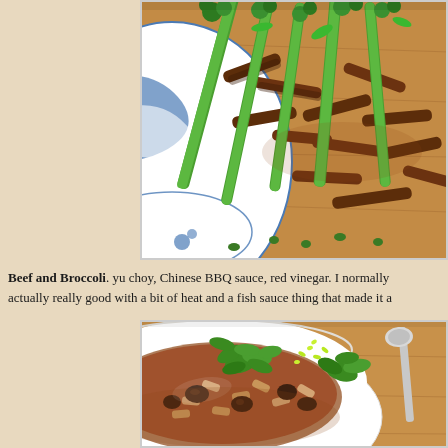[Figure (photo): A plate of beef and broccoli stir-fry dish with yu choy (Chinese broccoli stems and florets) and strips of beef on a blue and white decorative plate, on a wooden surface.]
Beef and Broccoli. yu choy, Chinese BBQ sauce, red vinegar. I normally actually really good with a bit of heat and a fish sauce thing that made it a
[Figure (photo): A bowl of pasta dish topped with cilantro/coriander leaves and lime zest, with mushrooms and sauce visible, with a spoon in the bowl, on a wooden surface.]